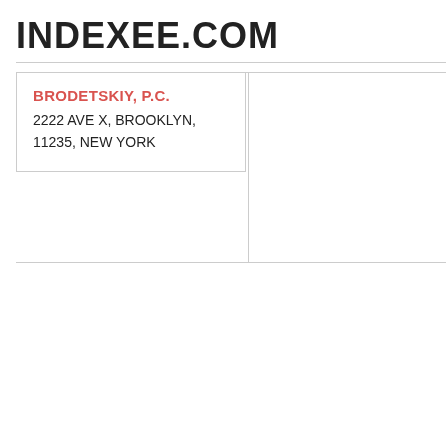INDEXEE.COM
BRODETSKIY, P.C.
2222 AVE X, BROOKLYN,
11235, NEW YORK